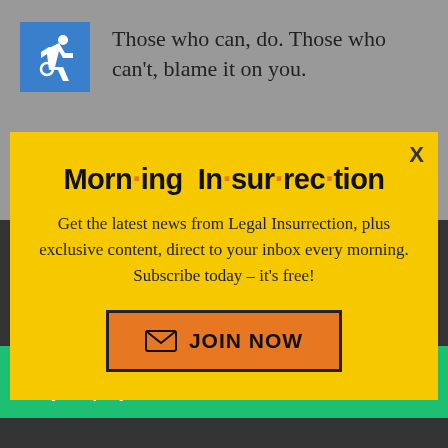[Figure (illustration): Wheelchair accessibility icon in blue square]
Those who can, do. Those who can't, blame it on you.
Morn·ing In·sur·rec·tion
Get the latest news from Legal Insurrection, plus exclusive content, direct to your inbox every morning. Subscribe today – it's free!
JOIN NOW
problems that were self-
back to top
[Figure (infographic): Fiverr advertisement banner: Working from home? Get your projects done on fiverr]